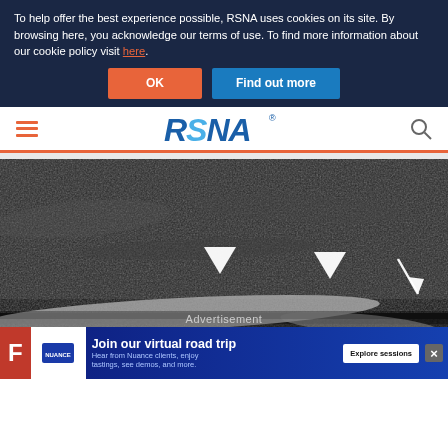To help offer the best experience possible, RSNA uses cookies on its site. By browsing here, you acknowledge our terms of use. To find more information about our cookie policy visit here.
[Figure (screenshot): Cookie consent banner with OK and Find out more buttons on dark navy background]
[Figure (logo): RSNA logo in blue italic font with navigation hamburger menu and search icon]
[Figure (photo): Ultrasound image (grayscale) showing tissue with three white arrowhead/arrow markers pointing to anatomical structures]
Advertisement
[Figure (screenshot): Nuance advertisement banner: Join our virtual road trip - Hear from Nuance clients, enjoy tastings, see demos, and more. Explore sessions button.]